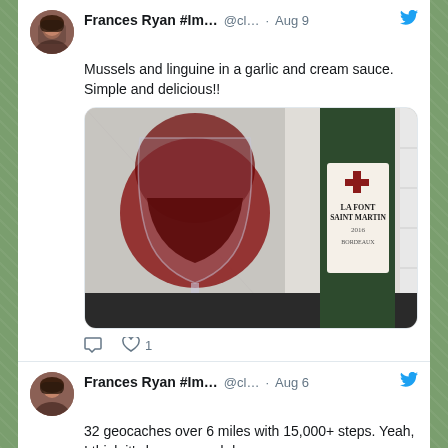[Figure (screenshot): Screenshot of Twitter/social media feed showing two tweets by Frances Ryan #Im... (@cl...). First tweet dated Aug 9 with text about mussels and linguine, includes photo of wine glass and La Font Saint Martin 2016 Bordeaux bottle, with 1 like. Second tweet dated Aug 6 about 32 geocaches over 6 miles with 15,000+ steps, with partial map screenshot showing smiley face emoji markers near FENS area.]